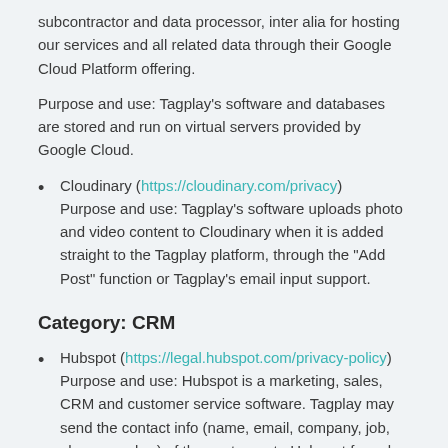subcontractor and data processor, inter alia for hosting our services and all related data through their Google Cloud Platform offering.
Purpose and use: Tagplay's software and databases are stored and run on virtual servers provided by Google Cloud.
Cloudinary (https://cloudinary.com/privacy) Purpose and use: Tagplay's software uploads photo and video content to Cloudinary when it is added straight to the Tagplay platform, through the "Add Post" function or Tagplay's email input support.
Category: CRM
Hubspot (https://legal.hubspot.com/privacy-policy) Purpose and use: Hubspot is a marketing, sales, CRM and customer service software. Tagplay may send the contact info (name, email, company, job, phone number) of the customer to Hubspot for sales...